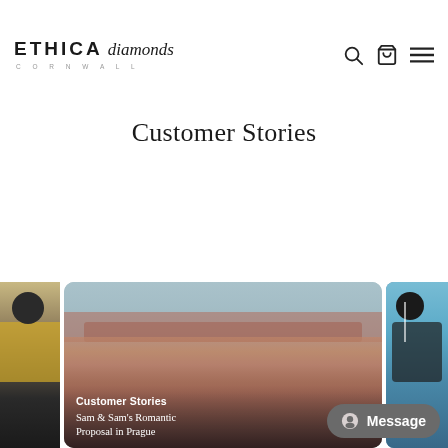Ethica Diamonds Cornwall — logo and navigation
Customer Stories
[Figure (photo): Left partial card showing a person in a yellow top, partially cropped]
[Figure (photo): Center card with a photo of a couple in Prague with cityscape in background, overlaid with 'Customer Stories' label and 'Sam & Sam's Romantic Proposal in Prague' text, and a Message button in the bottom right]
[Figure (illustration): Right partial card showing a colorful illustrated figure, partially cropped]